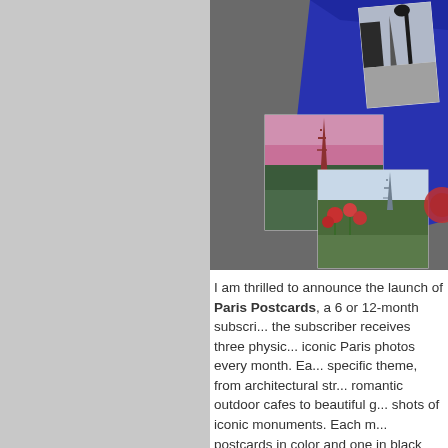[Figure (photo): Collage of Paris postcards on a dark gray background: blue envelope/folder, two postcard photos of the Eiffel Tower (one with pink sky, one with flowers in foreground), and a wax seal visible at right edge.]
I am thrilled to announce the launch of Paris Postcards, a 6 or 12-month subscription where the subscriber receives three physical iconic Paris photos every month. Each set has a specific theme, from architectural structures to romantic outdoor cafes to beautiful close-up shots of iconic monuments. Each month includes postcards in color and one in black & white, beautifully packaged in a special French holder with a custom designed...